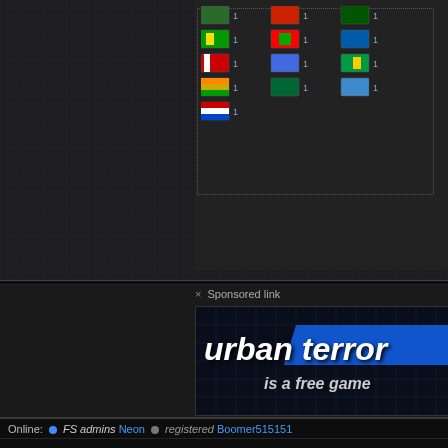[Figure (screenshot): Grid of country flag icons each with count of 1, arranged in rows of three columns in a dark panel]
× Sponsored link
[Figure (screenshot): Urban Terror advertisement banner showing 'urban terror is a free game' text on dark blue grid background]
Online: • FS admins Neon • registered Boomer515151
2475 visitors, 53 members and 61 downloaders since 24 hours
Urban Terror | Support | Forums | Frozensand
Copyright © 1999-2022 Frozensand Games Limited  |  All rights reserved
Frozensand Games is a Limited company regis